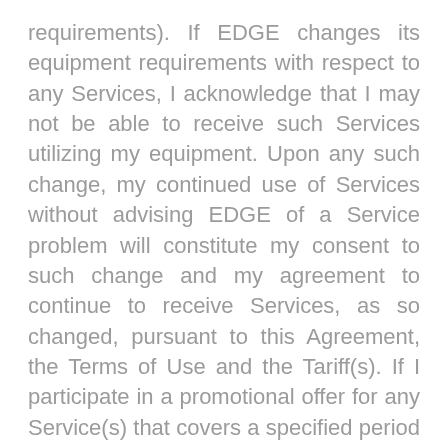requirements). If EDGE changes its equipment requirements with respect to any Services, I acknowledge that I may not be able to receive such Services utilizing my equipment. Upon any such change, my continued use of Services without advising EDGE of a Service problem will constitute my consent to such change and my agreement to continue to receive Services, as so changed, pursuant to this Agreement, the Terms of Use and the Tariff(s). If I participate in a promotional offer for any Service(s) that covers a specified period of time, I agree that I am assured only that I will be charged the promotional price for such Service(s) during the time specified. I agree that EDGE shall have the right to add to, modify, or delete any aspect, feature or